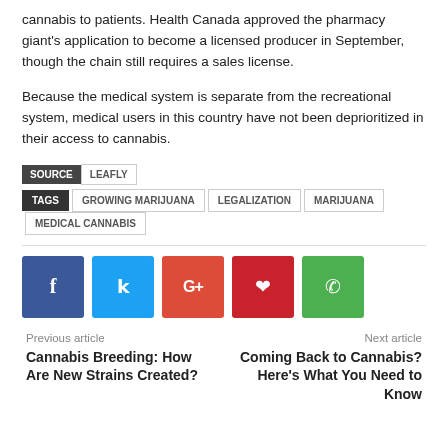cannabis to patients. Health Canada approved the pharmacy giant's application to become a licensed producer in September, though the chain still requires a sales license.
Because the medical system is separate from the recreational system, medical users in this country have not been deprioritized in their access to cannabis.
SOURCE | LEAFLY
TAGS | GROWING MARIJUANA | LEGALIZATION | MARIJUANA | MEDICAL CANNABIS
[Figure (infographic): Social media share buttons: Facebook (blue), Twitter (light blue), Google+ (red-orange), Pinterest (dark red), WhatsApp (green)]
Previous article
Cannabis Breeding: How Are New Strains Created?
Next article
Coming Back to Cannabis? Here's What You Need to Know